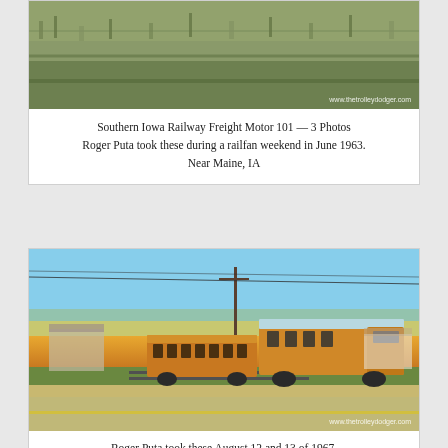[Figure (photo): Partial photo of Southern Iowa Railway Freight Motor 101 near Maine, IA, showing vegetation in background. Watermark: www.thetrolleydodger.com]
Southern Iowa Railway Freight Motor 101 — 3 Photos
Roger Puta took these during a railfan weekend in June 1963.
Near Maine, IA
[Figure (photo): Color photo of orange Box Motor 31 (ex-Chicago, North Shore & Milwaukee) and Passenger Car 100 (ex-Waterloo, Cedar Falls and Northern Railway) on a rural track. Blue sky, utility poles visible. Watermark: www.thetrolleydodger.com]
Roger Puta took these August 12 and 13 of 1967.
Box Motor 31 (ex-Chicago, North Shore & Milwaukee) and
Passenger Car 100 (ex-Waterloo, Cedar Falls and Northern Railway)